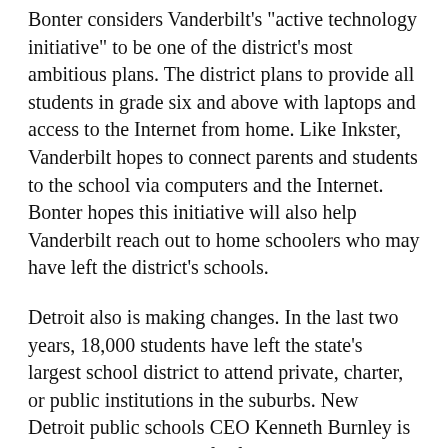Bonter considers Vanderbilt's "active technology initiative" to be one of the district's most ambitious plans. The district plans to provide all students in grade six and above with laptops and access to the Internet from home. Like Inkster, Vanderbilt hopes to connect parents and students to the school via computers and the Internet. Bonter hopes this initiative will also help Vanderbilt reach out to home schoolers who may have left the district's schools.
Detroit also is making changes. In the last two years, 18,000 students have left the state's largest school district to attend private, charter, or public institutions in the suburbs. New Detroit public schools CEO Kenneth Burnley is instituting a long list of reforms to improve education in the district.
Shortly after assuming the CEO post in July of this year, Burnley hired 24 "directors of accountability for student achievement" to mentor and supervise the district's